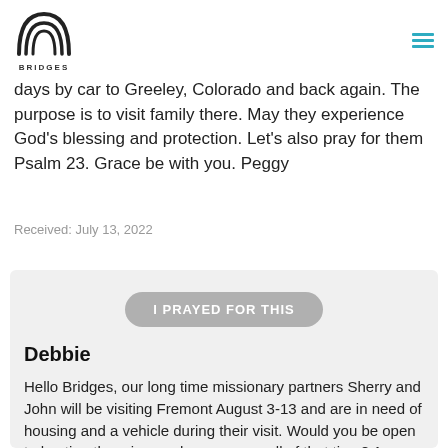BRIDGES
days by car to Greeley, Colorado and back again. The purpose is to visit family there. May they experience God's blessing and protection. Let's also pray for them Psalm 23. Grace be with you. Peggy
Received: July 13, 2022
I PRAYED FOR THIS
Debbie
Hello Bridges, our long time missionary partners Sherry and John will be visiting Fremont August 3-13 and are in need of housing and a vehicle during their visit. Would you be open to hosting them in your home any or all of that time? Are you going on vacation during that time and can open up your home while you're gone? do you have an extra car they might be able to use all or part of that time? they are a lovely couple and will be busy visiting supporters most days and some evenings. Please reach out to Debbie at debbiev @ bridgescc. org